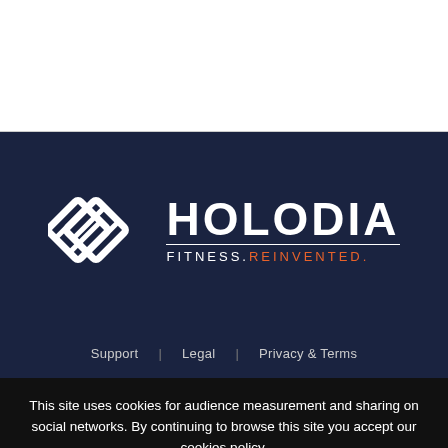[Figure (logo): Holodia logo: white geometric overlapping diamond shapes icon on dark navy background, with HOLODIA text and FITNESS.REINVENTED. tagline]
Support | Legal | Privacy & Terms
This site uses cookies for audience measurement and sharing on social networks. By continuing to browse this site you accept our cookies policy.
OK   PRIVACY POLICY